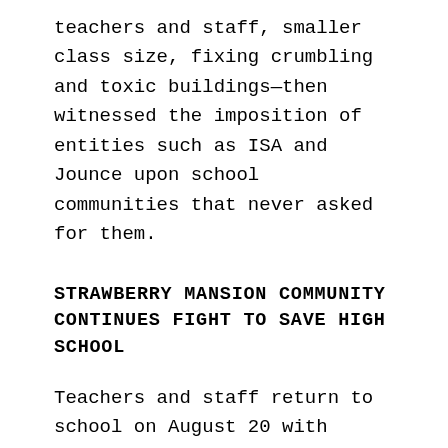teachers and staff, smaller class size, fixing crumbling and toxic buildings—then witnessed the imposition of entities such as ISA and Jounce upon school communities that never asked for them.
STRAWBERRY MANSION COMMUNITY CONTINUES FIGHT TO SAVE HIGH SCHOOL
Teachers and staff return to school on August 20 with students following a week later. At the July 31 community meeting, District staff, once again, were unable or unwilling to answer questions raised by concerned stakeholders. Action Item A-15 refers to one of those unanswered questions: when One Bright Ray's Daytime school (co-located